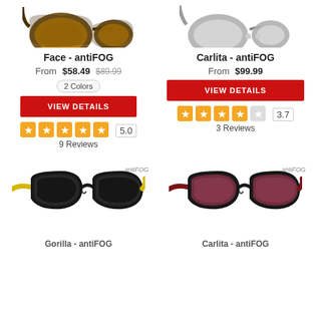[Figure (photo): Sunglasses with brown/amber lenses, partially cropped at top - Face antiFOG model]
[Figure (photo): Sunglasses with silver/clear lenses, partially cropped at top - Carlita antiFOG model]
Face - antiFOG
From $58.49  $89.99
2 Colors
VIEW DETAILS
5.0  9 Reviews
Carlita - antiFOG
From $99.99
VIEW DETAILS
3.7  3 Reviews
[Figure (photo): Black sunglasses with yellow/gold temples and dark lenses - antiFOG label, partially cropped]
[Figure (photo): Black sunglasses with dark red/maroon temples and rose/pink lenses - antiFOG label, partially cropped]
antiFOG
antiFOG